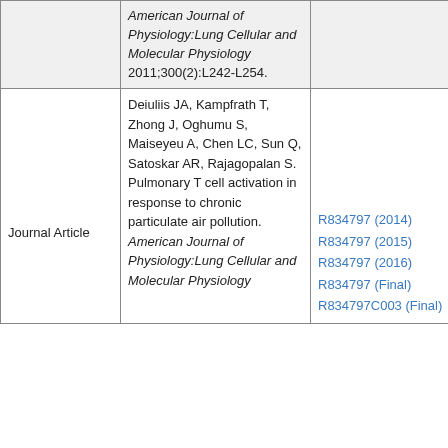| Type | Citation | Grant | Links |
| --- | --- | --- | --- |
|  | American Journal of Physiology:Lung Cellular and Molecular Physiology 2011;300(2):L242-L254. |  | Other: EXIT |
| Journal Article | Deiuliis JA, Kampfrath T, Zhong J, Oghumu S, Maiseyeu A, Chen LC, Sun Q, Satoskar AR, Rajagopalan S. Pulmonary T cell activation in response to chronic particulate air pollution. American Journal of Physiology:Lung Cellular and Molecular Physiology | R834797 (2014) R834797 (2015) R834797 (2016) R834797 (Final) R834797C003 (Final) | Full-text
Abstract
Association
Full-text EXIT
Abstract EXIT
Other: EXIT |